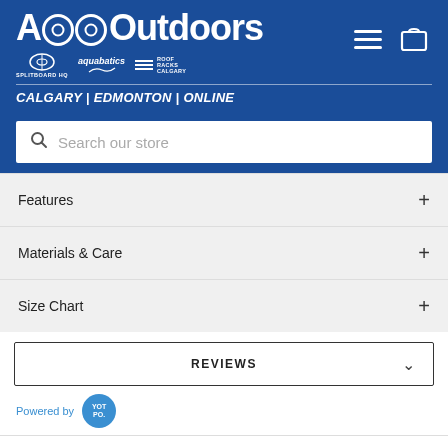AQOutdoors — CALGARY | EDMONTON | ONLINE
Search our store
Features +
Materials & Care +
Size Chart +
REVIEWS
Powered by YOTPO